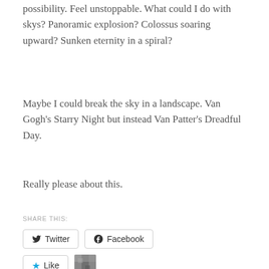possibility. Feel unstoppable. What could I do with skys? Panoramic explosion? Colossus soaring upward? Sunken eternity in a spiral?
Maybe I could break the sky in a landscape. Van Gogh's Starry Night but instead Van Patter's Dreadful Day.
Really please about this.
SHARE THIS:
[Figure (other): Twitter share button and Facebook share button]
[Figure (other): Like button with star icon and blogger avatar thumbnail]
One blogger likes this.
RELATED